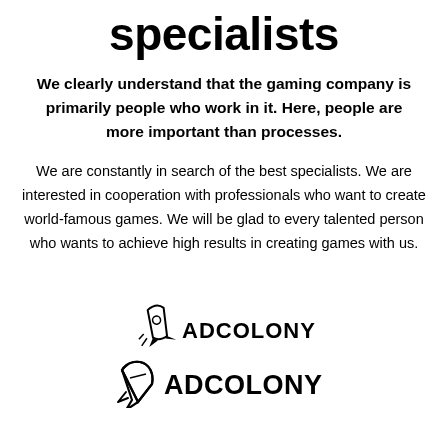specialists
We clearly understand that the gaming company is primarily people who work in it. Here, people are more important than processes.
We are constantly in search of the best specialists. We are interested in cooperation with professionals who want to create world-famous games. We will be glad to every talented person who wants to achieve high results in creating games with us.
[Figure (logo): AdColony logo with stylized rocket/pencil icon and the text ADCOLONY]